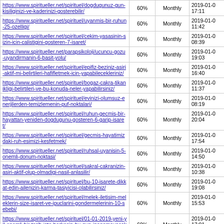| URL | Priority | Change Freq | Last Modified |
| --- | --- | --- | --- |
| https://www.spiritueller.net/spirituel/dogdugunuz-gun-kisiliginizi-ve-kaderinizi-gosterebilir/ | 60% | Monthly | 2019-01-0 17:11 |
| https://www.spiritueller.net/spirituel/uyanmis-bir-ruhun-25-ozelligi/ | 60% | Monthly | 2019-01-0 11:42 |
| https://www.spiritueller.net/spirituel/cekim-yasasinin-sizin-icin-calistigini-gosteren-7-isaret/ | 60% | Monthly | 2019-01-0 08:39 |
| https://www.spiritueller.net/parapsikoloji/ucuncu-gozu-uyandirmanin-6-basit-yolu/ | 60% | Monthly | 2019-01-0 19:03 |
| https://www.spiritueller.net/spirituel/epifiz-beziniz-asiri-aktif-mi-belirtileri-hafifletmek-icin-yapabilecekleriniz/ | 60% | Monthly | 2019-01-0 16:40 |
| https://www.spiritueller.net/spirituel/bogaz-cakra-tikanikligi-belirtileri-ve-bu-konuda-neler-yapabilirsiniz/ | 60% | Monthly | 2019-01-0 11:37 |
| https://www.spiritueller.net/spirituel/evinizi-olumsuz-enerjilerden-temizlemenin-puf-noktalari/ | 60% | Monthly | 2019-01-0 08:19 |
| https://www.spiritueller.net/spirituel/ruhun-gecmis-bir-hayattan-yeniden-dogdugunu-gosteren-6-garip-isaret/ | 60% | Monthly | 2019-01-0 20:04 |
| https://www.spiritueller.net/spirituel/gecmis-hayatimizdaki-ruh-esimizi-kesfetmek/ | 60% | Monthly | 2019-01-0 17:54 |
| https://www.spiritueller.net/spirituel/ruhsal-uyanisin-5-onemli-donum-noktasi/ | 60% | Monthly | 2019-01-0 14:50 |
| https://www.spiritueller.net/spirituel/sakral-cakranizin-asiri-aktif-olup-olmadigi-nasil-anlasilir/ | 60% | Monthly | 2019-01-0 10:38 |
| https://www.spiritueller.net/spirituel/bu-10-isarete-dikkat-edin-ailenizin-karma-tasiyicisi-olabilirsiniz/ | 60% | Monthly | 2019-01-0 19:08 |
| https://www.spiritueller.net/spirituel/melek-iletisim-meleklerin-size-isaret-ve-ipuclarini-gondermelerinin-10-sebebi/ | 60% | Monthly | 2019-01-0 15:53 |
| https://www.spiritueller.net/spirituel/01-01-2019-yeni-yil-onemli-bir-tarih-iste-herkesin-bu-gun-inanamayacaksiniz/ | 60% | Monthly | 2019-01-0 17:01 |